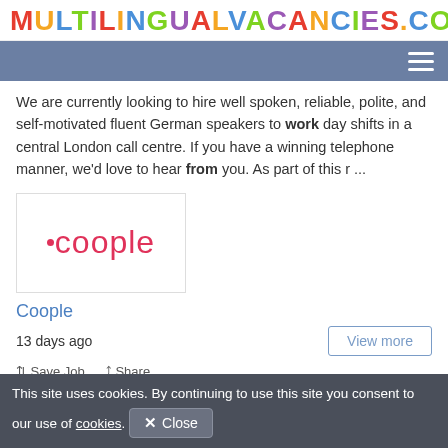MULTILINGUALVACANCIES.COM
[Figure (logo): Coople company logo with pink text and dot]
We are currently looking to hire well spoken, reliable, polite, and self-motivated fluent German speakers to work day shifts in a central London call centre. If you have a winning telephone manner, we'd love to hear from you. As part of this r ...
Coople
13 days ago
View more
Save Job   Share
This site uses cookies. By continuing to use this site you consent to our use of cookies. Close